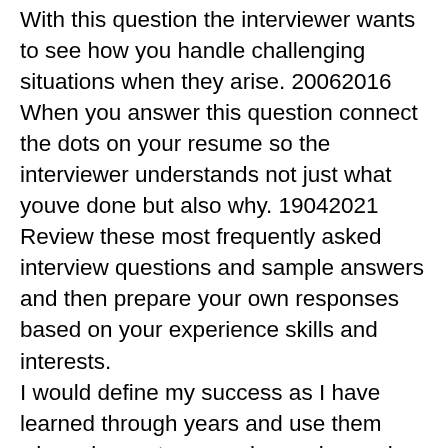With this question the interviewer wants to see how you handle challenging situations when they arise. 20062016 When you answer this question connect the dots on your resume so the interviewer understands not just what youve done but also why. 19042021 Review these most frequently asked interview questions and sample answers and then prepare your own responses based on your experience skills and interests. I would define my success as I have learned through years and use them when circumstances arise or demand. Remember that its less about providing the right answers and more about demonstrating that youre the best candidate for the job. Before your next job interview its a good idea to familiarize yourself with illegal job interview questions such as How old are you or Is English